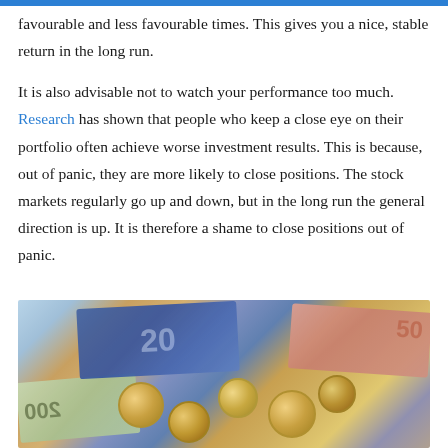favourable and less favourable times. This gives you a nice, stable return in the long run.

It is also advisable not to watch your performance too much. Research has shown that people who keep a close eye on their portfolio often achieve worse investment results. This is because, out of panic, they are more likely to close positions. The stock markets regularly go up and down, but in the long run the general direction is up. It is therefore a shame to close positions out of panic.
[Figure (photo): Photo of Euro banknotes (200, 20, 50 euro notes) and several Euro coins scattered on a surface]